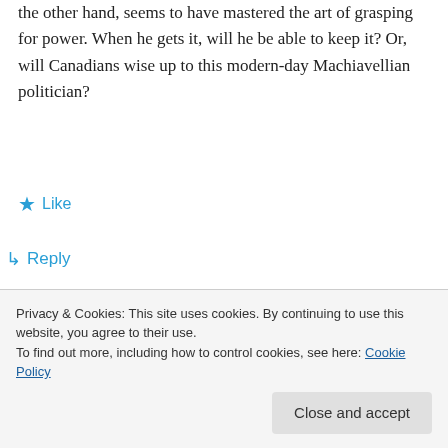the other hand, seems to have mastered the art of grasping for power. When he gets it, will he be able to keep it? Or, will Canadians wise up to this modern-day Machiavellian politician?
★ Like
↳ Reply
[Figure (illustration): Dark navy background banner with bold white text reading 'we all have them.' with a pink bar and a grey circle visible at bottom]
Privacy & Cookies: This site uses cookies. By continuing to use this website, you agree to their use.
To find out more, including how to control cookies, see here: Cookie Policy
Close and accept